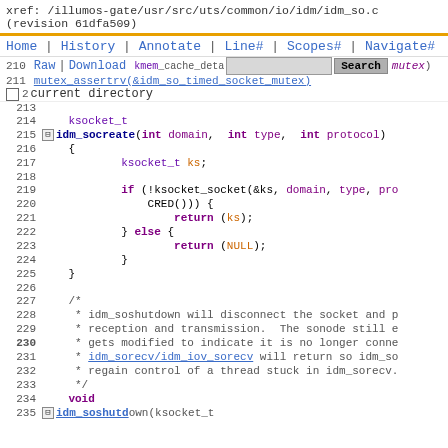xref: /illumos-gate/usr/src/uts/common/io/idm/idm_so.c (revision 61dfa509)
Home | History | Annotate | Line# | Scopes# | Navigate#
Raw | Download | [search box] Search | current directory
[Figure (screenshot): Source code viewer showing C code for idm_socreate function and beginning of idm_soshutdown comment block, lines 210-234]
214    ksocket_t
215  idm_socreate(int domain, int type, int protocol)
216    {
217            ksocket_t ks;
218
219            if (!ksocket_socket(&ks, domain, type, pro
220                CRED())) {
221                    return (ks);
222            } else {
223                    return (NULL);
224            }
225    }
226
227    /*
228     * idm_soshutdown will disconnect the socket and p
229     * reception and transmission.  The sonode still e
230     * gets modified to indicate it is no longer conne
231     * idm_sorecv/idm_iov_sorecv will return so idm_so
232     * regain control of a thread stuck in idm_sorecv.
233     */
234    void